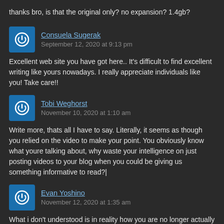thanks bro, is that the original only? no expansion? 1.4gb?
Consuela Sugerak
September 12, 2020 at 9:13 pm
Excellent web site you have got here.. It's difficult to find excellent writing like yours nowadays. I really appreciate individuals like you! Take care!!
Tobi Weghorst
November 10, 2020 at 1:10 am
Write more, thats all I have to say. Literally, it seems as though you relied on the video to make your point. You obviously know what youre talking about, why waste your intelligence on just posting videos to your blog when you could be giving us something informative to read?|
Evan Yoshino
November 12, 2020 at 1:35 am
What i don't understood is in reality how you are no longer actually a lot more smartly-preferred than you might be now. You're very intelligent. You know